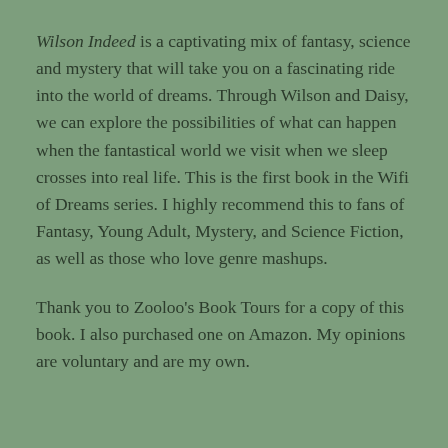Wilson Indeed is a captivating mix of fantasy, science and mystery that will take you on a fascinating ride into the world of dreams. Through Wilson and Daisy, we can explore the possibilities of what can happen when the fantastical world we visit when we sleep crosses into real life. This is the first book in the Wifi of Dreams series. I highly recommend this to fans of Fantasy, Young Adult, Mystery, and Science Fiction, as well as those who love genre mashups.
Thank you to Zooloo's Book Tours for a copy of this book. I also purchased one on Amazon. My opinions are voluntary and are my own.